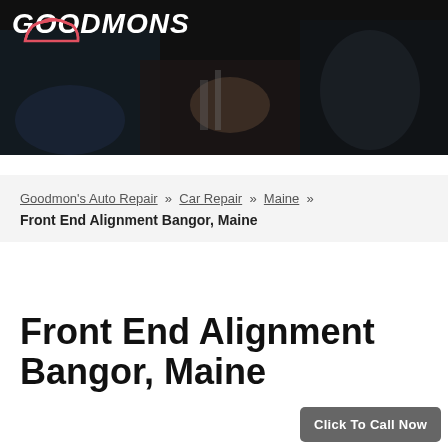[Figure (photo): Dark header banner with Goodmons Auto Repair logo (white italic bold text with red car silhouette icon) over a dimly lit mechanic/auto repair shop background photo showing hands working on a car engine]
Goodmon's Auto Repair » Car Repair » Maine »
Front End Alignment Bangor, Maine
Front End Alignment Bangor, Maine
Click To Call Now